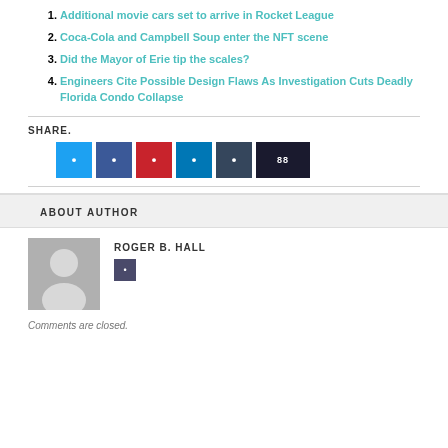1. Additional movie cars set to arrive in Rocket League
2. Coca-Cola and Campbell Soup enter the NFT scene
3. Did the Mayor of Erie tip the scales?
4. Engineers Cite Possible Design Flaws As Investigation Cuts Deadly Florida Condo Collapse
SHARE.
[Figure (infographic): Social share buttons: Twitter (blue), Facebook (dark blue), Pinterest (red), LinkedIn (blue), Tumblr (dark blue-grey), More/share (dark navy with 88)]
ABOUT AUTHOR
ROGER B. HALL
[Figure (illustration): Generic user avatar placeholder: grey square with white silhouette of a person]
Comments are closed.